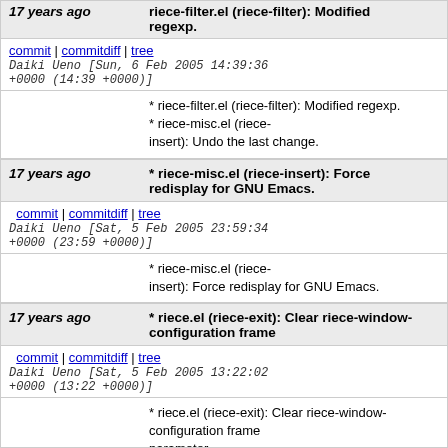17 years ago | * riece-filter.el (riece-filter): Modified regexp.
commit | commitdiff | tree   Daiki Ueno [Sun, 6 Feb 2005 14:39:36 +0000 (14:39 +0000)]
* riece-filter.el (riece-filter): Modified regexp.
* riece-misc.el (riece-insert): Undo the last change.
17 years ago | * riece-misc.el (riece-insert): Force redisplay for GNU Emacs.
commit | commitdiff | tree   Daiki Ueno [Sat, 5 Feb 2005 23:59:34 +0000 (23:59 +0000)]
* riece-misc.el (riece-insert): Force redisplay for GNU Emacs.
17 years ago | * riece.el (riece-exit): Clear riece-window-configuration frame
commit | commitdiff | tree   Daiki Ueno [Sat, 5 Feb 2005 13:22:02 +0000 (13:22 +0000)]
* riece.el (riece-exit): Clear riece-window-configuration frame parameter.
* riece-commands.el (riece-command-suspend-resume): Don't attempt